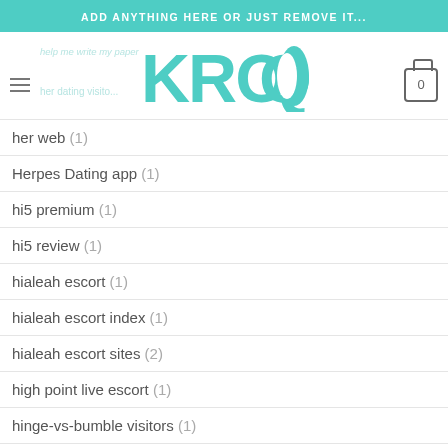ADD ANYTHING HERE OR JUST REMOVE IT...
[Figure (logo): KROQ logo in teal, stylized letters K R O Q]
her web (1)
Herpes Dating app (1)
hi5 premium (1)
hi5 review (1)
hialeah escort (1)
hialeah escort index (1)
hialeah escort sites (2)
high point live escort (1)
hinge-vs-bumble visitors (1)